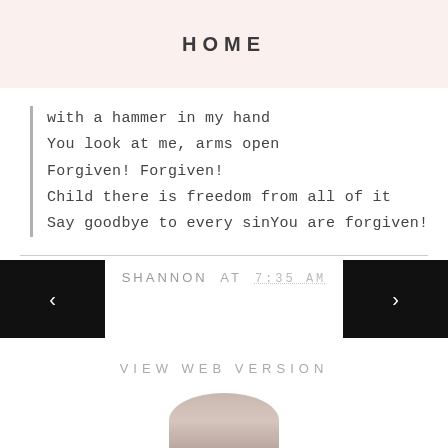HOME
with a hammer in my hand
You look at me, arms open
Forgiven! Forgiven!
Child there is freedom from all of it
Say goodbye to every sinYou are forgiven!
SHANNON AT 7:35 AM
VIEW WEB VERSION